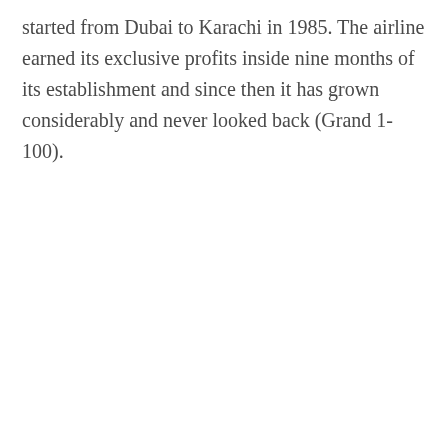started from Dubai to Karachi in 1985. The airline earned its exclusive profits inside nine months of its establishment and since then it has grown considerably and never looked back (Grand 1-100).